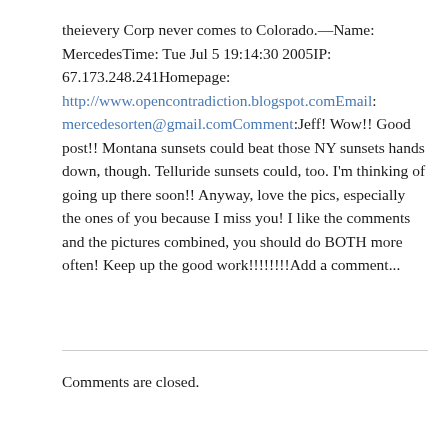theievery Corp never comes to Colorado.––Name: MercedesTime: Tue Jul 5 19:14:30 2005IP: 67.173.248.241Homepage: http://www.opencontradiction.blogspot.comEmail: mercedesorten@gmail.comComment:Jeff! Wow!! Good post!! Montana sunsets could beat those NY sunsets hands down, though. Telluride sunsets could, too. I'm thinking of going up there soon!! Anyway, love the pics, especially the ones of you because I miss you! I like the comments and the pictures combined, you should do BOTH more often! Keep up the good work!!!!!!!!Add a comment...
Comments are closed.